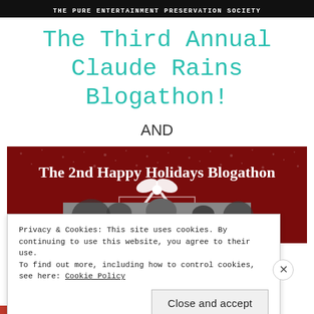THE PURE ENTERTAINMENT PRESERVATION SOCIETY
The Third Annual Claude Rains Blogathon!
AND
[Figure (illustration): Banner image reading 'The 2nd Happy Holidays Blogathon' on a dark red/maroon background with snow and a white bow/ribbon, with a black and white photo of people below.]
Privacy & Cookies: This site uses cookies. By continuing to use this website, you agree to their use.
To find out more, including how to control cookies, see here: Cookie Policy
Close and accept